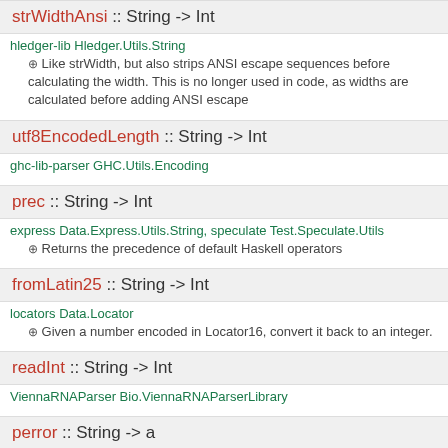strWidthAnsi :: String -> Int
hledger-lib Hledger.Utils.String
⊕ Like strWidth, but also strips ANSI escape sequences before calculating the width. This is no longer used in code, as widths are calculated before adding ANSI escape
utf8EncodedLength :: String -> Int
ghc-lib-parser GHC.Utils.Encoding
prec :: String -> Int
express Data.Express.Utils.String, speculate Test.Speculate.Utils
⊕ Returns the precedence of default Haskell operators
fromLatin25 :: String -> Int
locators Data.Locator
⊕ Given a number encoded in Locator16, convert it back to an integer.
readInt :: String -> Int
ViennaRNAParser Bio.ViennaRNAParserLibrary
perror :: String -> a
base Text.Printf